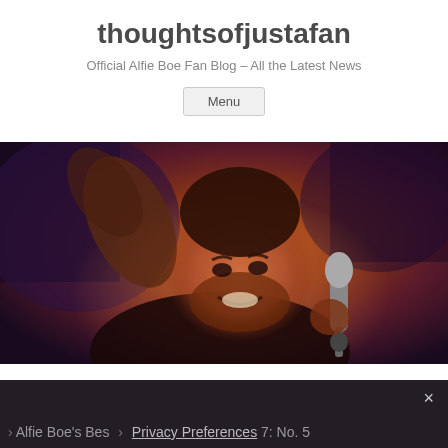thoughtsofjustafan
Official Alfie Boe Fan Blog – All the Latest News
Menu
[Figure (photo): A man singing into a microphone at a concert, arm raised, smiling, lit with warm orange/red stage lighting against a dark purple background]
×
Alfie Boe's Bes › Privacy Preferences 7: No. 5